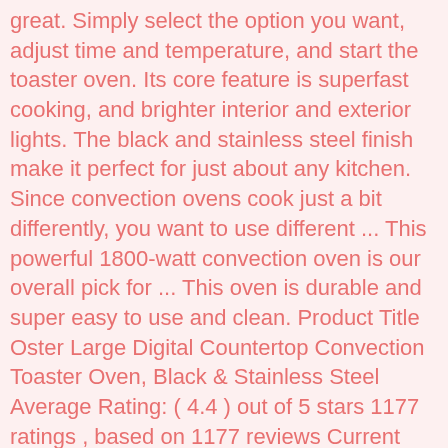great. Simply select the option you want, adjust time and temperature, and start the toaster oven. Its core feature is superfast cooking, and brighter interior and exterior lights. The black and stainless steel finish make it perfect for just about any kitchen. Since convection ovens cook just a bit differently, you want to use different ... This powerful 1800-watt convection oven is our overall pick for ... This oven is durable and super easy to use and clean. Product Title Oster Large Digital Countertop Convection Toaster Oven, Black & Stainless Steel Average Rating: ( 4.4 ) out of 5 stars 1177 ratings , based on 1177 reviews Current Price $74.99 $ 74 . 9 FUNCTIONS, ONE OVEN: The versatile Oster® RapidCrisp™ Air Fryer Oven combines air fryer oven combines 9 cooking functions in one oven to make preparing family meals quick and easy—it's an air fryer, convection oven, broiler, toaster oven, dehydrator, and more In our analysis of 37 expert reviews, the Oster Oster French Door Convection Toaster Oven placed 4th when we looked at the top 9 products in the category. The CuisinartÂ tob 260n1 is powered by 1800 watts which helps us...